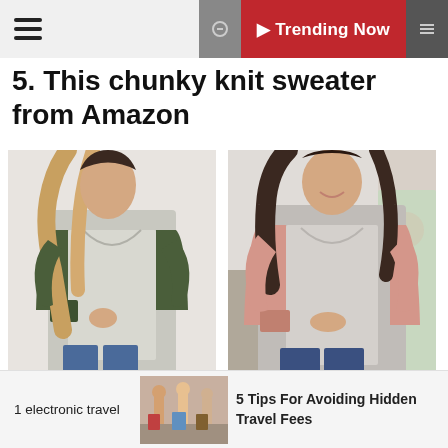Trending Now
5. This chunky knit sweater from Amazon
[Figure (photo): Two side-by-side product photos of women wearing chunky knit open-front cardigans — left photo shows a dark olive/green color, right photo shows a pink/salmon color, both worn with white tops and jeans]
1 electronic travel
[Figure (photo): Small thumbnail photo of people with luggage, travel scene]
5 Tips For Avoiding Hidden Travel Fees